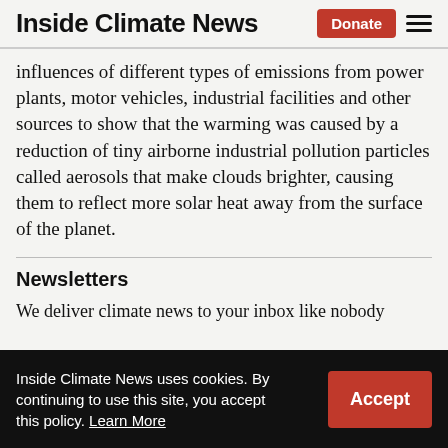Inside Climate News
influences of different types of emissions from power plants, motor vehicles, industrial facilities and other sources to show that the warming was caused by a reduction of tiny airborne industrial pollution particles called aerosols that make clouds brighter, causing them to reflect more solar heat away from the surface of the planet.
Newsletters
We deliver climate news to your inbox like nobody
Inside Climate News uses cookies. By continuing to use this site, you accept this policy. Learn More